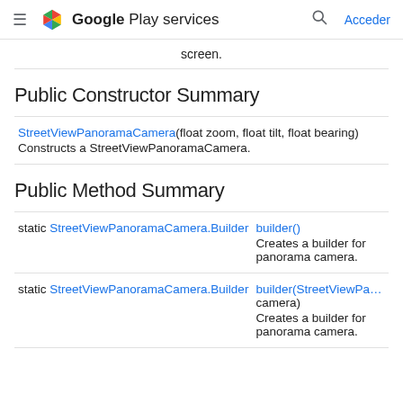≡ Google Play services  🔍  Acceder
screen.
Public Constructor Summary
| Constructor | Description |
| --- | --- |
| StreetViewPanoramaCamera(float zoom, float tilt, float bearing) | Constructs a StreetViewPanoramaCamera. |
Public Method Summary
| Return type | Method |
| --- | --- |
| static StreetViewPanoramaCamera.Builder | builder()
Creates a builder for panorama camera. |
| static StreetViewPanoramaCamera.Builder | builder(StreetViewPa… camera)
Creates a builder for panorama camera. |